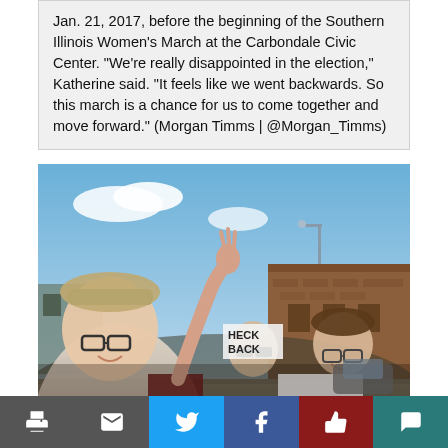Jan. 21, 2017, before the beginning of the Southern Illinois Women's March at the Carbondale Civic Center. "We're really disappointed in the election," Katherine said. "It feels like we went backwards. So this march is a chance for us to come together and move forward." (Morgan Timms | @Morgan_Timms)
[Figure (photo): Protesters marching at the Southern Illinois Women's March, holding signs including one reading 'LIVES MATTER', with a brick building visible in the background.]
[Figure (infographic): Bottom toolbar with six icon buttons: print (dark gray), email (dark gray), Twitter (blue), Facebook (blue), like/thumbs-up (dark red), comment (teal).]